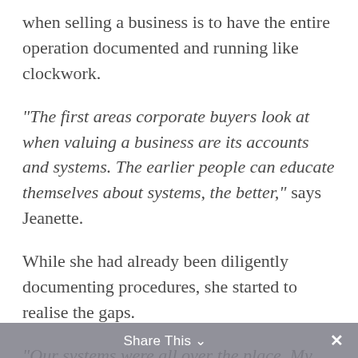when selling a business is to have the entire operation documented and running like clockwork.
“The first areas corporate buyers look at when valuing a business are its accounts and systems. The earlier people can educate themselves about systems, the better,” says Jeanette.
While she had already been diligently documenting procedures, she started to realise the gaps.
“Our systems were all over the place. My team couldn’t access specific procedures easily. Lack of accessibility meant that my team couldn’t imp… refine upon the existing systems,” says Jeanette.
Share This